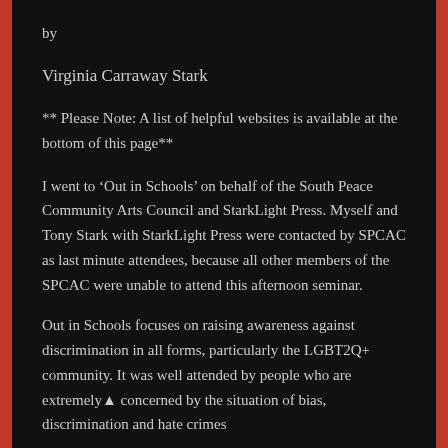by
Virginia Carraway Stark
** Please Note: A list of helpful websites is available at the bottom of this page**
I went to ‘Out in Schools’ on behalf of the South Peace Community Arts Council and StarkLight Press. Myself and Tony Stark with StarkLight Press were contacted by SPCAC as last minute attendees, because all other members of the SPCAC were unable to attend this afternoon seminar.
Out in Schools focuses on raising awareness against discrimination in all forms, particularly the LGBT2Q+ community. It was well attended by people who are extremely▲ concerned by the situation of bias, discrimination and hate crimes